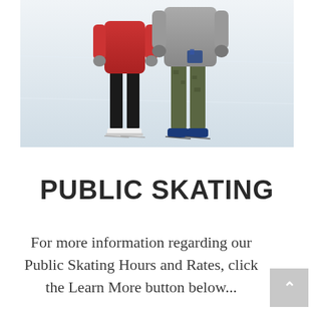[Figure (photo): Two children on an ice skating rink, viewed from above and slightly behind. One child wearing a red/pink sweater and black pants with white ice skates (left), another child wearing a gray hoodie and olive/camo pants with dark blue ice skates (right). They appear to be holding hands or close together. The ice rink surface is visible as a white/light gray floor.]
PUBLIC SKATING
For more information regarding our Public Skating Hours and Rates, click the Learn More button below...